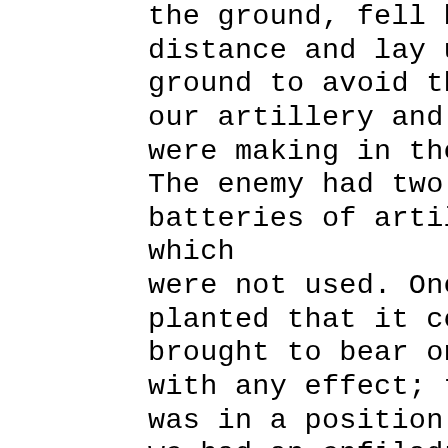the ground, fell back some distance and lay upon the ground to avoid the havoc our artillery and small arms were making in their ranks. The enemy had two batteries of artillery, which were not used. One was so planted that it could not be brought to bear on our men with any effect; the other was in a position on which we had an enfilading fire. If they had more it was not observed, but they fired not a single shot with artillery during the fight. We had several pieces, which were served with admirable precision and great effect, as could plainly be seen at every discharge, which extorted loud cries of pain from the wounded Yankees, to which our men responded with cheers